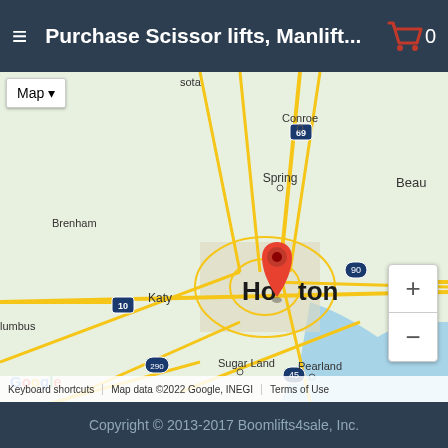Purchase Scissor lifts, Manlift...
[Figure (map): Google Maps screenshot showing Houston, Texas area with a red location pin marker on Houston. Surrounding cities visible include Brenham, Katy, Sugar Land, Pearland, Spring, Conroe, Galveston, and El Campo. Major highways labeled include I-10, I-69, US-290, US-90, US-45, US-59. The Gulf of Mexico coastline is visible to the east. Map includes zoom controls (+/-) and Map/Satellite toggle button. Footer shows 'Google', 'Keyboard shortcuts', 'Map data ©2022 Google, INEGI', 'Terms of Use'.]
Copyright © 2013-2017 Boomlifts4sale, Inc.